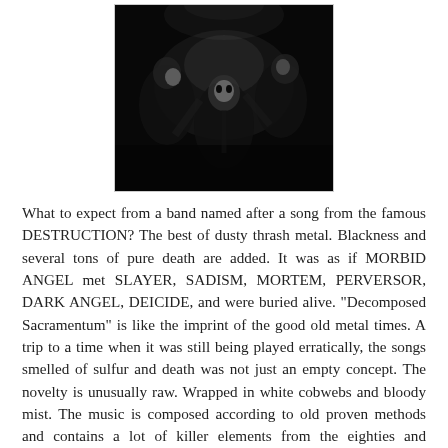[Figure (photo): Black and white concert photo of a metal band performing on stage, dark atmospheric image with figures visible.]
What to expect from a band named after a song from the famous DESTRUCTION? The best of dusty thrash metal. Blackness and several tons of pure death are added. It was as if MORBID ANGEL met SLAYER, SADISM, MORTEM, PERVERSOR, DARK ANGEL, DEICIDE, and were buried alive. "Decomposed Sacramentum" is like the imprint of the good old metal times. A trip to a time when it was still being played erratically, the songs smelled of sulfur and death was not just an empty concept. The novelty is unusually raw. Wrapped in white cobwebs and bloody mist. The music is composed according to old proven methods and contains a lot of killer elements from the eighties and nineties. On top with the believability of a dusty sound and unclean, demonic